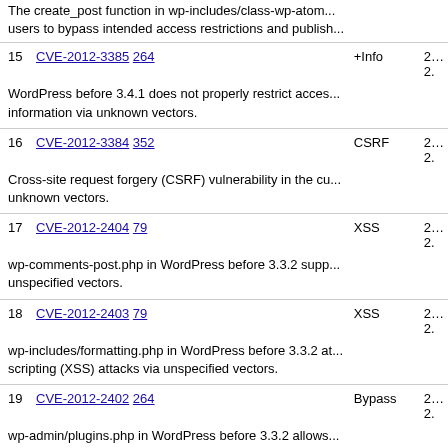The create_post function in wp-includes/class-wp-atom... users to bypass intended access restrictions and publish...
15 CVE-2012-3385 264 +Info 2... 2...
WordPress before 3.4.1 does not properly restrict access... information via unknown vectors.
16 CVE-2012-3384 352 CSRF 2... 2...
Cross-site request forgery (CSRF) vulnerability in the cu... unknown vectors.
17 CVE-2012-2404 79 XSS 2... 2...
wp-comments-post.php in WordPress before 3.3.2 supp... unspecified vectors.
18 CVE-2012-2403 79 XSS 2... 2...
wp-includes/formatting.php in WordPress before 3.3.2 at... scripting (XSS) attacks via unspecified vectors.
19 CVE-2012-2402 264 Bypass 2... 2...
wp-admin/plugins.php in WordPress before 3.3.2 allows... plugins via unspecified vectors.
20 CVE-2012-2401 264 Bypass 2...